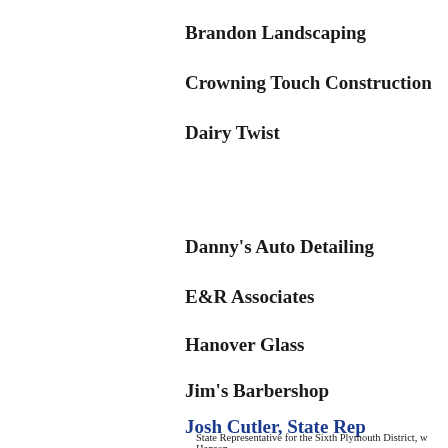Brandon Landscaping
Crowning Touch Construction
Dairy Twist
Danny's Auto Detailing
E&R Associates
Hanover Glass
Jim's Barbershop
Josh Cutler, State Rep
State Representative for the Sixth Plymouth District, w Hanson.